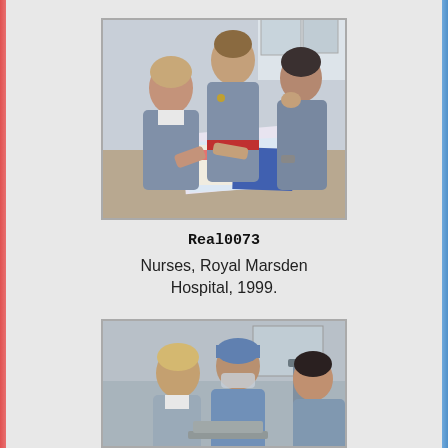[Figure (photo): Three nurses in blue uniforms leaning over a desk reviewing documents/books at Royal Marsden Hospital, 1999.]
Real0073
Nurses, Royal Marsden Hospital, 1999.
[Figure (photo): Medical professionals in blue surgical scrubs, appearing to be in a clinical or operating room setting.]